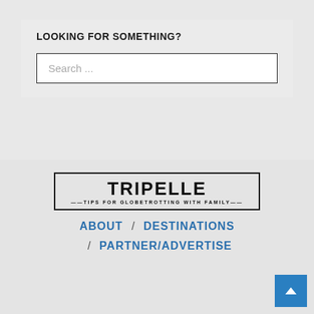LOOKING FOR SOMETHING?
Search ...
[Figure (logo): Tripelle logo with text 'TRIPELLE — TIPS FOR GLOBETROTTING WITH FAMILY —' in a rectangular border]
ABOUT / DESTINATIONS
/ PARTNER/ADVERTISE